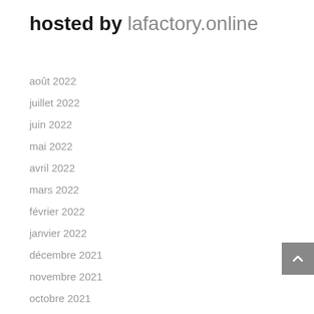hosted by lafactory.online
août 2022
juillet 2022
juin 2022
mai 2022
avril 2022
mars 2022
février 2022
janvier 2022
décembre 2021
novembre 2021
octobre 2021